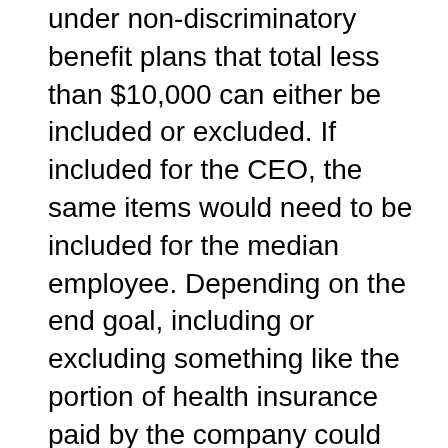under non-discriminatory benefit plans that total less than $10,000 can either be included or excluded. If included for the CEO, the same items would need to be included for the median employee. Depending on the end goal, including or excluding something like the portion of health insurance paid by the company could significantly impact the ratio.
The final rule published by the SEC does allow for a de minimis exception, which provides that non-U.S. employees can generally be excluded from the calculation